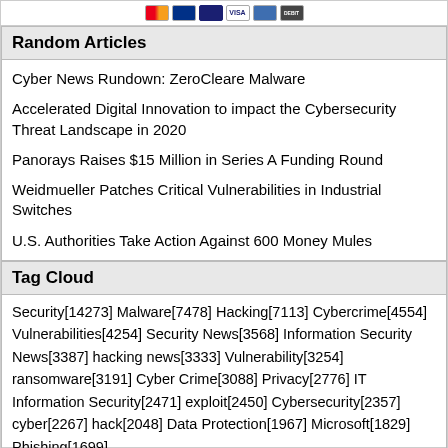[Figure (other): Payment card icons: Mastercard, Visa, American Express, Visa (variant), blue card, Debit card]
Random Articles
Cyber News Rundown: ZeroCleare Malware
Accelerated Digital Innovation to impact the Cybersecurity Threat Landscape in 2020
Panorays Raises $15 Million in Series A Funding Round
Weidmueller Patches Critical Vulnerabilities in Industrial Switches
U.S. Authorities Take Action Against 600 Money Mules
Tag Cloud
Security[14273] Malware[7478] Hacking[7113] Cybercrime[4554] Vulnerabilities[4254] Security News[3568] Information Security News[3387] hacking news[3333] Vulnerability[3254] ransomware[3191] Cyber Crime[3088] Privacy[2776] IT Information Security[2471] exploit[2450] Cybersecurity[2357] cyber[2267] hack[2048] Data Protection[1967] Microsoft[1829] Phishing[1699]
HackDig © 2013-2022 | About HackDig